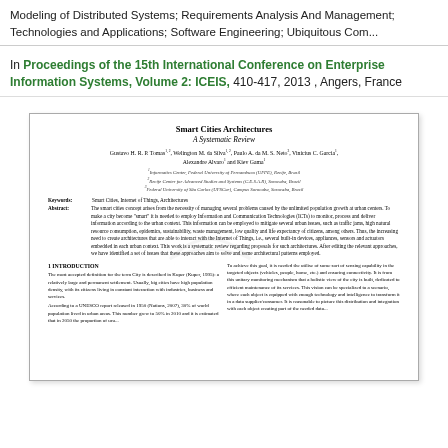Modeling of Distributed Systems; Requirements Analysis And Management; Technologies and Applications; Software Engineering; Ubiquitous Computing
In Proceedings of the 15th International Conference on Enterprise Information Systems, Volume 2: ICEIS, 410-417, 2013 , Angers, France
[Figure (other): Preview thumbnail of the academic paper 'Smart Cities Architectures: A Systematic Review' showing title, authors, affiliations, keywords, abstract and introduction section with two-column layout.]